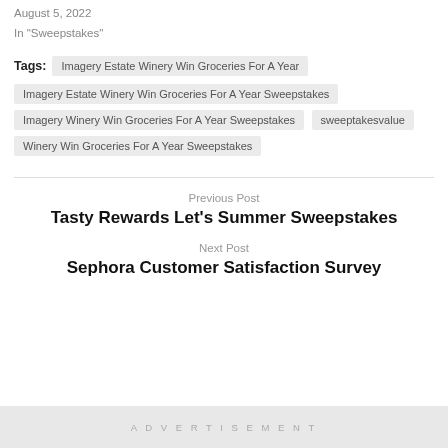August 5, 2022
In "Sweepstakes"
Tags: Imagery Estate Winery Win Groceries For A Year | Imagery Estate Winery Win Groceries For A Year Sweepstakes | Imagery Winery Win Groceries For A Year Sweepstakes | sweeptakesvalue | Winery Win Groceries For A Year Sweepstakes
Previous Post
Tasty Rewards Let's Summer Sweepstakes
Next Post
Sephora Customer Satisfaction Survey
ADVERTISEMENT